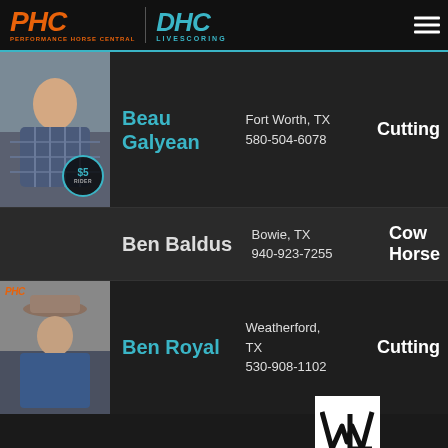[Figure (logo): PHC Performance Horse Central and DHC Livescoring logos in header with hamburger menu]
[Figure (photo): Photo of Beau Galyean, young man in plaid shirt with rider badge]
Beau Galyean
Fort Worth, TX
580-504-6078
Cutting
Ben Baldus
Bowie, TX
940-923-7255
Cow Horse
[Figure (photo): Photo of Ben Royal, man in blue shirt wearing cowboy hat]
Ben Royal
Weatherford, TX
530-908-1102
Cutting
[Figure (logo): WL logo in white box]
Other Categories